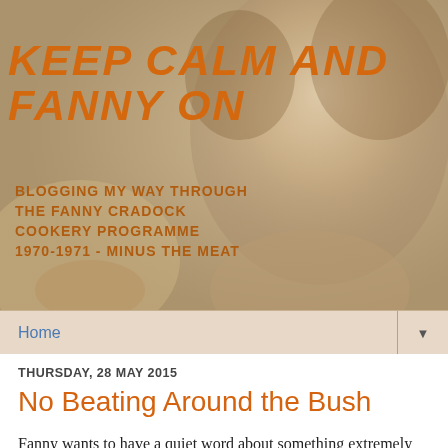[Figure (photo): Website banner header with a vintage sepia-toned portrait of a woman (Fanny Cradock) in the background. Large bold italic orange text reads 'KEEP CALM AND FANNY ON'. Smaller orange bold text below reads 'BLOGGING MY WAY THROUGH THE FANNY CRADOCK COOKERY PROGRAMME 1970-1971 - MINUS THE MEAT'.]
Home ▼
THURSDAY, 28 MAY 2015
No Beating Around the Bush
Fanny wants to have a quiet word about something extremely sensitive, it's come to that point in our relationship. We've been skirting around the topic for a couple of years, but something has been simmering under the surface, and